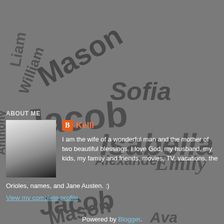[Figure (illustration): Word cloud background with baby names in various sizes and orientations in dark gray on gray background. Names include Jacob, Isabella, Mason, Emily, Sofia, Chloe, Liam, William, Alexander, Ava, Anthony, Gabriel, and others.]
ABOUT ME
[Figure (photo): Black and white portrait photo of a woman (Kelli), smiling, facing slightly left]
Kelli
I am the wife of a wonderful man and the mother of two beautiful blessings. I love God, my husband, my kids, my family and friends, movies, TV, vacations, the Orioles, names, and Jane Austen. :)
View my complete profile
Powered by Blogger.